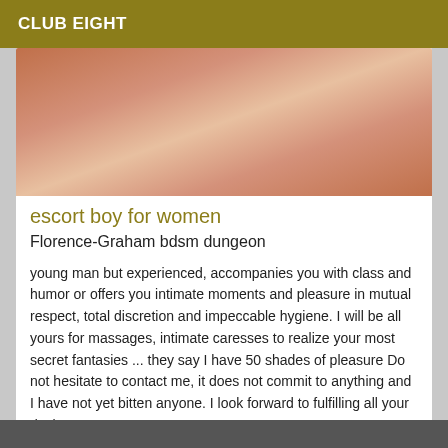CLUB EIGHT
[Figure (photo): Close-up photo of a person, cropped torso/shoulder area with pink/red background]
escort boy for women
Florence-Graham bdsm dungeon
young man but experienced, accompanies you with class and humor or offers you intimate moments and pleasure in mutual respect, total discretion and impeccable hygiene. I will be all yours for massages, intimate caresses to realize your most secret fantasies ... they say I have 50 shades of pleasure Do not hesitate to contact me, it does not commit to anything and I have not yet bitten anyone. I look forward to fulfilling all your desires